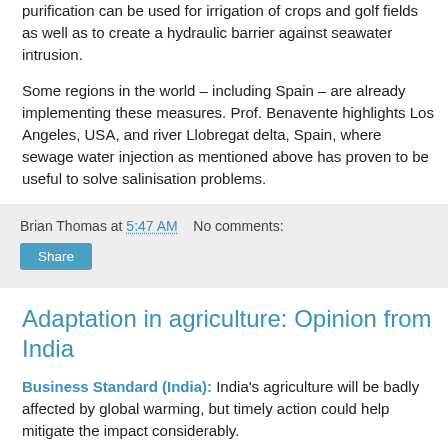purification can be used for irrigation of crops and golf fields as well as to create a hydraulic barrier against seawater intrusion.
Some regions in the world – including Spain – are already implementing these measures. Prof. Benavente highlights Los Angeles, USA, and river Llobregat delta, Spain, where sewage water injection as mentioned above has proven to be useful to solve salinisation problems.
Brian Thomas at 5:47 AM   No comments:
Share
Adaptation in agriculture: Opinion from India
Business Standard (India): India's agriculture will be badly affected by global warming, but timely action could help mitigate the impact considerably.